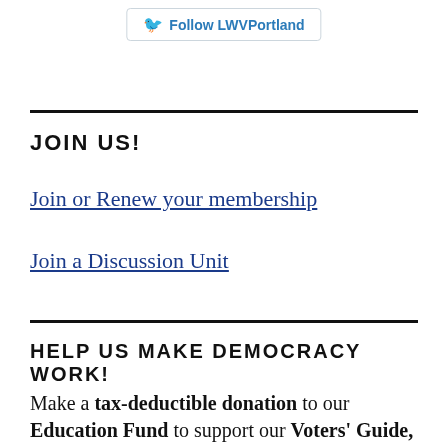[Figure (other): Twitter Follow button for LWVPortland]
JOIN US!
Join or Renew your membership
Join a Discussion Unit
HELP US MAKE DEMOCRACY WORK!
Make a tax-deductible donation to our Education Fund to support our Voters' Guide,